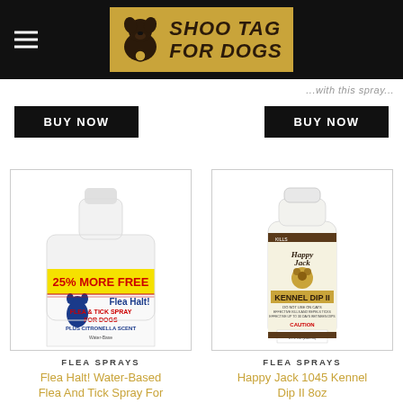SHOO TAG FOR DOGS
BUY NOW
BUY NOW
[Figure (photo): Flea Halt Water-Based Flea and Tick Spray For Dogs bottle with yellow label reading 25% MORE FREE, blue dog silhouette, and text FLEA & TICK SPRAY FOR DOGS PLUS CITRONELLA SCENT]
[Figure (photo): Happy Jack 1045 Kennel Dip II bottle, white with brown stripe label, 8 FL OZ]
FLEA SPRAYS
FLEA SPRAYS
Flea Halt! Water-Based Flea And Tick Spray For
Happy Jack 1045 Kennel Dip II 8oz